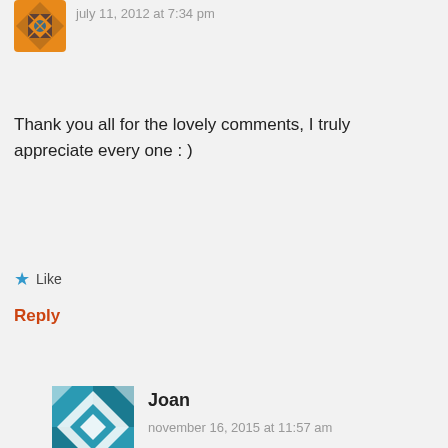[Figure (illustration): Small square avatar with geometric quilt pattern in orange and brown tones]
july 11, 2012 at 7:34 pm
Thank you all for the lovely comments, I truly appreciate every one : )
Like
Reply
[Figure (illustration): Square avatar with geometric quilt pattern in teal and white tones, belonging to Joan]
Joan
november 16, 2015 at 11:57 am
tried to get the pattern for the mitered granny square with no success. can see the pattern but it won't print. what am I doing wrong? would love to do this pattern. Just what I was looking for. Thank you. Joan